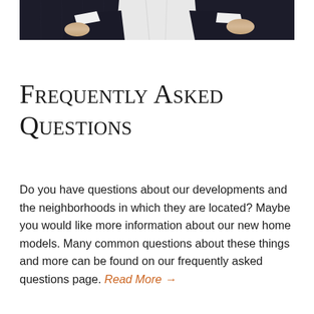[Figure (photo): Partial photo of a person in a dark suit with a white dress shirt, arms crossed, cropped to show torso and arms only against a dark background.]
Frequently Asked Questions
Do you have questions about our developments and the neighborhoods in which they are located? Maybe you would like more information about our new home models. Many common questions about these things and more can be found on our frequently asked questions page. Read More →